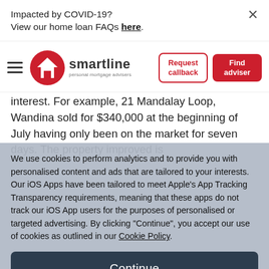Impacted by COVID-19?
View our home loan FAQs here.
[Figure (logo): Smartline personal mortgage advisers logo — red circle with white house icon, 'smartline' in dark text, tagline 'personal mortgage advisers']
Request callback
Find adviser
interest. For example, 21 Mandalay Loop, Wandina sold for $340,000 at the beginning of July having only been on the market for seven days. The property improved is
We use cookies to perform analytics and to provide you with personalised content and ads that are tailored to your interests. Our iOS Apps have been tailored to meet Apple's App Tracking Transparency requirements, meaning that these apps do not track our iOS App users for the purposes of personalised or targeted advertising. By clicking "Continue", you accept our use of cookies as outlined in our Cookie Policy.
Continue